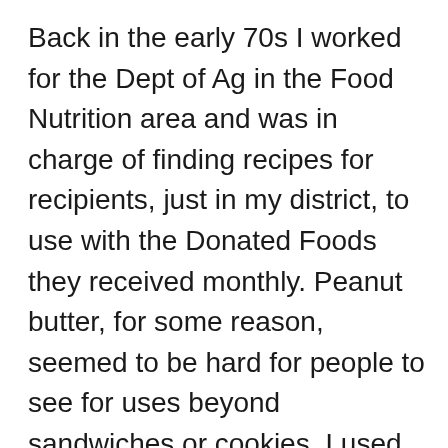Back in the early 70s I worked for the Dept of Ag in the Food Nutrition area and was in charge of finding recipes for recipients, just in my district, to use with the Donated Foods they received monthly. Peanut butter, for some reason, seemed to be hard for people to see for uses beyond sandwiches or cookies. I used current issues of Women's Day, Better Homes & Gardens to find recipes where PB could be substituted. The most popular recipe was PB Mac (Mac & cheese). PB, butter and elbow macaroni were 3 of the items given out each month. Also “PB Candy Balls” made with